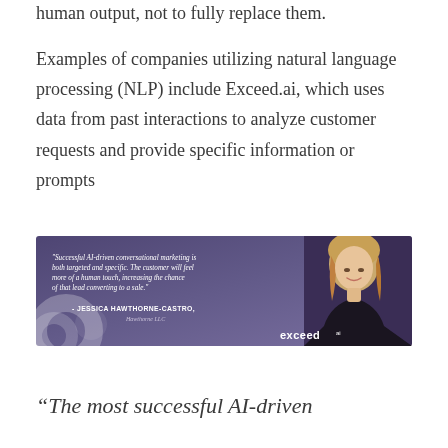human output, not to fully replace them.
Examples of companies utilizing natural language processing (NLP) include Exceed.ai, which uses data from past interactions to analyze customer requests and provide specific information or prompts
[Figure (photo): A promotional banner from Exceed.ai featuring a quote: 'Successful AI-driven conversational marketing is both targeted and specific. The customer will feel more of a human touch, increasing the chance of that lead converting to a sale.' attributed to Jessica Hawthorne-Castro, Hawthorne LLC. The banner has a purple/violet background with a photo of a blonde woman on the right side and the Exceed logo in the bottom right corner.]
“The most successful AI-driven